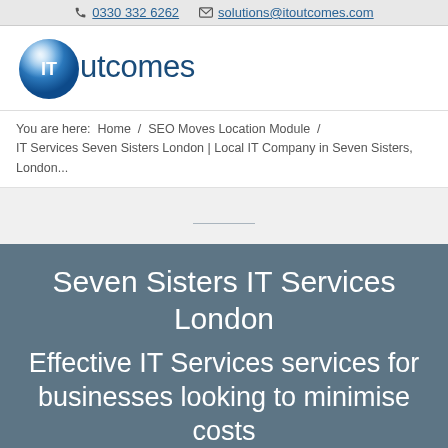0330 332 6262  solutions@itoutcomes.com
[Figure (logo): IT outcomes logo — a shiny blue sphere with 'IT' text and 'utcomes' in dark blue text beside it]
You are here:  Home  /  SEO Moves Location Module  /  IT Services Seven Sisters London | Local IT Company in Seven Sisters, London...
Seven Sisters IT Services London
Effective IT Services services for businesses looking to minimise costs...